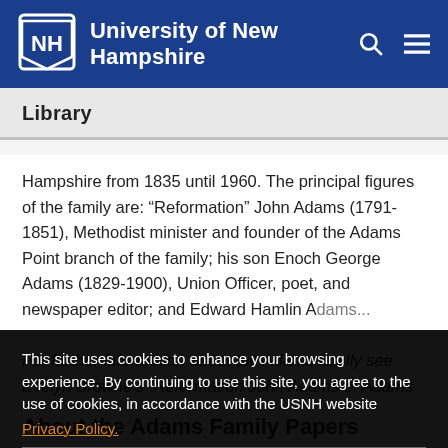University of New Hampshire
Library
Hampshire from 1835 until 1960. The principal figures of the family are: “Reformation” John Adams (1791-1851), Methodist minister and founder of the Adams Point branch of the family; his son Enoch George Adams (1829-1900), Union Officer, poet, and newspaper editor; and Edward Hamlin Adams...
For further information about the Adams family see Evelyn Browne’s “Reformation John Adams of Adams Point,” M.A. thesis...
This site uses cookies to enhance your browsing experience. By continuing to use this site, you agree to the use of cookies, in accordance with the USNH website Privacy Policy.
About the Adams Family Papers